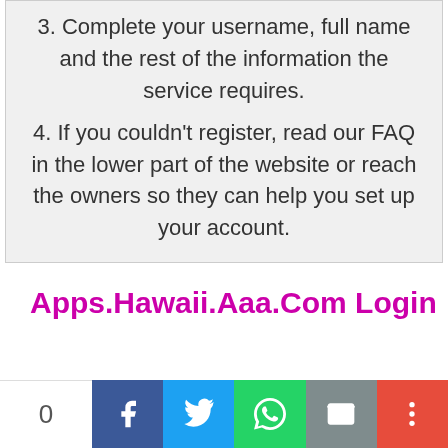3. Complete your username, full name and the rest of the information the service requires.
4. If you couldn't register, read our FAQ in the lower part of the website or reach the owners so they can help you set up your account.
Apps.Hawaii.Aaa.Com Login